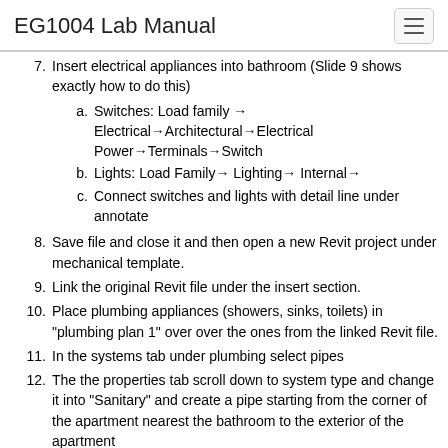EG1004 Lab Manual
7. Insert electrical appliances into bathroom (Slide 9 shows exactly how to do this)
  a. Switches: Load family → Electrical→Architectural→Electrical Power→Terminals→Switch
  b. Lights: Load Family→ Lighting→ Internal→
  c. Connect switches and lights with detail line under annotate
8. Save file and close it and then open a new Revit project under mechanical template.
9. Link the original Revit file under the insert section.
10. Place plumbing appliances (showers, sinks, toilets) in "plumbing plan 1" over over the ones from the linked Revit file.
11. In the systems tab under plumbing select pipes
12. The the properties tab scroll down to system type and change it into “Sanitary” and create a pipe starting from the corner of the apartment nearest the bathroom to the exterior of the apartment
13. Click on the appliances and select the pipe under the out text and change to inherit elevation